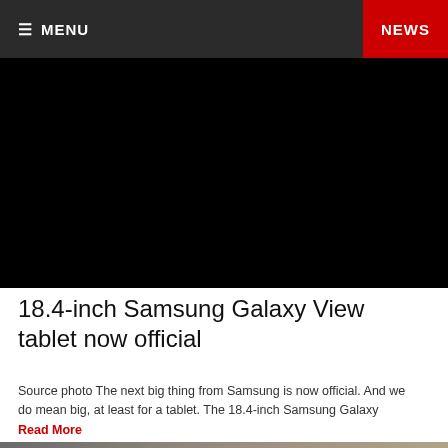≡ MENU | NEWS
[Figure (photo): Black/dark hero image area for Samsung Galaxy View tablet article]
18.4-inch Samsung Galaxy View tablet now official
Source photo The next big thing from Samsung is now official. And we do mean big, at least for a tablet. The 18.4-inch Samsung Galaxy
Read More
[Figure (photo): Bottom image with MOBILE and SMARTPHONES category badges in red]